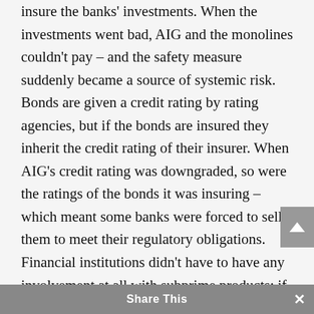insure the banks' investments. When the investments went bad, AIG and the monolines couldn't pay – and the safety measure suddenly became a source of systemic risk. Bonds are given a credit rating by rating agencies, but if the bonds are insured they inherit the credit rating of their insurer. When AIG's credit rating was downgraded, so were the ratings of the bonds it was insuring – which meant some banks were forced to sell them to meet their regulatory obligations. Financial institutions didn't have to have any involvement at all with subprime products: if they were holding bonds that AIG or the monolines had insured, they could be sucked into the crisis by the unexpected interaction of safety regulation
Share This ×